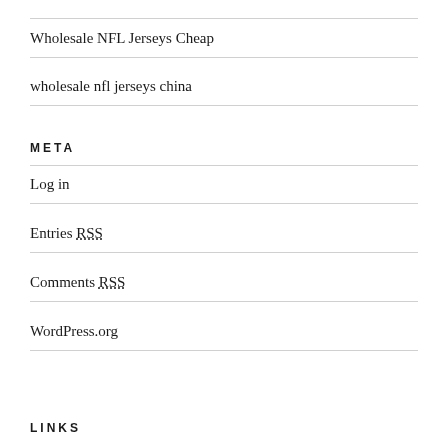Wholesale NFL Jerseys Cheap
wholesale nfl jerseys china
META
Log in
Entries RSS
Comments RSS
WordPress.org
LINKS